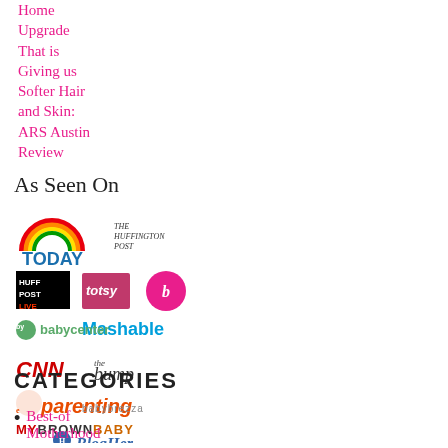Home Upgrade That is Giving us Softer Hair and Skin: ARS Austin Review
As Seen On
[Figure (logo): Collection of media logos: TODAY, The Huffington Post, Huff Post Live, Totsy, bobby, Mashable, babycenter, CNN, the bump, parenting, babybrezza, MYBROWNBABY, BlogHer]
CATEGORIES
Best-of Motherhood